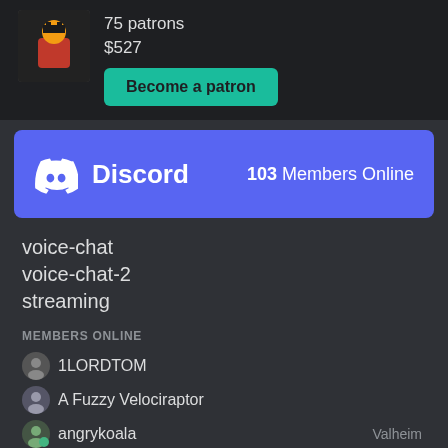75 patrons
$527
Become a patron
[Figure (infographic): Discord banner showing Discord logo and '103 Members Online']
voice-chat
voice-chat-2
streaming
MEMBERS ONLINE
1LORDTOM
A Fuzzy Velociraptor
angrykoala — Valheim
Arexils
Asriel
Aszterto